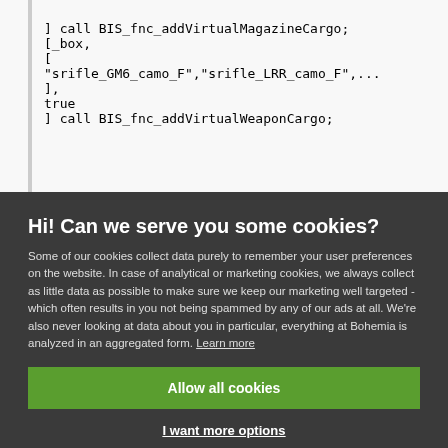] call BIS_fnc_addVirtualMagazineCargo;
[_box,
[
"srifle_GM6_camo_F","srifle_LRR_camo_F",...
],
true
] call BIS_fnc_addVirtualWeaponCargo;
Hi! Can we serve you some cookies?
Some of our cookies collect data purely to remember your user preferences on the website. In case of analytical or marketing cookies, we always collect as little data as possible to make sure we keep our marketing well targeted - which often results in you not being spammed by any of our ads at all. We're also never looking at data about you in particular, everything at Bohemia is analyzed in an aggregated form. Learn more
Allow all cookies
I want more options